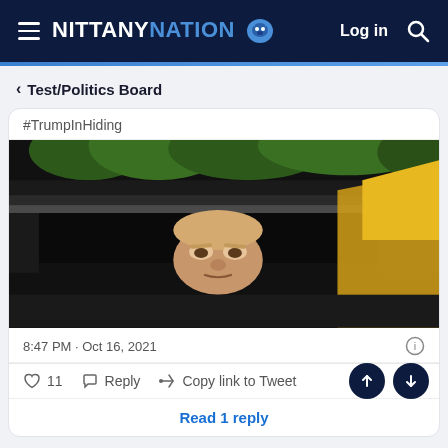NITTANY NATION  Log in
< Test/Politics Board
#TrumpInHiding
[Figure (photo): A meme photo showing Donald Trump's face peeking out from a storm drain, referencing the movie IT (Pennywise the clown), with yellow raincoat visible on the right side.]
8:47 PM · Oct 16, 2021
♡ 11  Reply  Copy link to Tweet
Read 1 reply